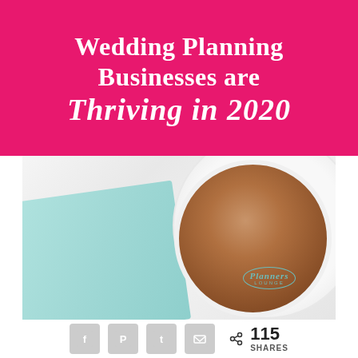Wedding Planning Businesses are Thriving in 2020
[Figure (photo): Flat lay photo of a light teal/mint notebook and a cappuccino coffee cup on a white marble surface, with a 'Planners Lounge' watermark logo on the saucer/plate]
< 115 SHARES